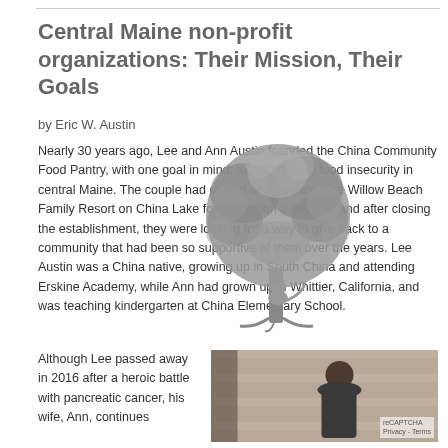Central Maine non-profit organizations: Their Mission, Their Goals
by Eric W. Austin
Nearly 30 years ago, Lee and Ann Austin founded the China Community Food Pantry, with one goal in mind: to help reduce food insecurity in central Maine. The couple had owned and operated the Willow Beach Family Resort on China Lake for more than a decade, and after closing the establishment, they were looking for a way to give back to a community that had been so supportive of them over the years. Lee Austin was a China native, growing up in South China and attending Erskine Academy, while Ann had grown up in Whittier, California, and was teaching kindergarten at China Elementary School.
[Figure (illustration): Black and white illustration of a tree with a cat sitting at its base, used as a decorative/logo image]
Although Lee passed away in 2016 after a heroic battle with pancreatic cancer, his wife, Ann, continues
[Figure (photo): Photograph of a person standing outdoors near a building]